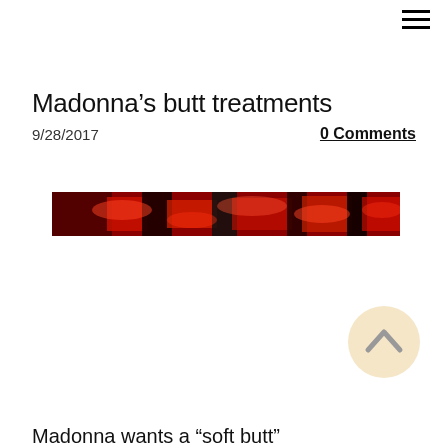≡
Madonna’s butt treatments
9/28/2017
0 Comments
[Figure (photo): A narrow horizontal red and black abstract image, likely a cropped photo with red tones and dark shadowing.]
[Figure (other): A circular beige/cream button with an upward-pointing arrow chevron icon, used as a scroll-to-top button.]
Madonna wants a “soft butt”